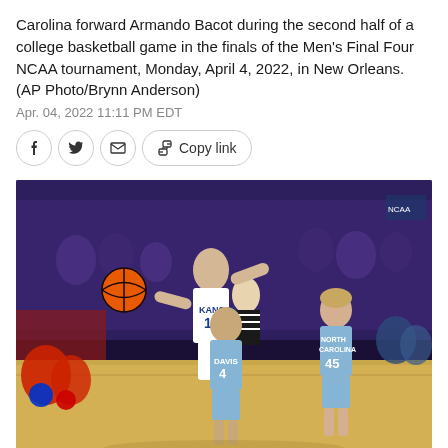Carolina forward Armando Bacot during the second half of a college basketball game in the finals of the Men's Final Four NCAA tournament, Monday, April 4, 2022, in New Orleans. (AP Photo/Brynn Anderson)
Apr. 04, 2022 11:11 PM EDT
[Figure (photo): Basketball game photo showing Kansas player #10 reaching for the ball while North Carolina players #4 and #45 defend, during the Men's Final Four NCAA tournament, April 4, 2022, New Orleans.]